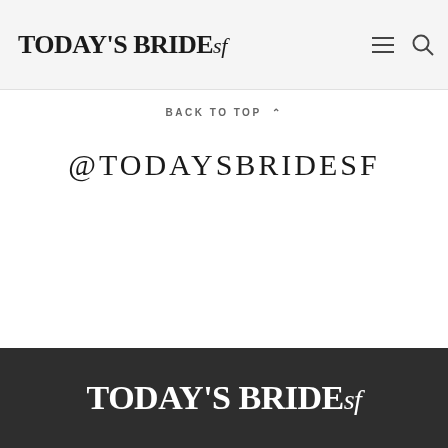TODAY'S BRIDEsf
BACK TO TOP ^
@TODAYSBRIDESF
TODAY'S BRIDEsf